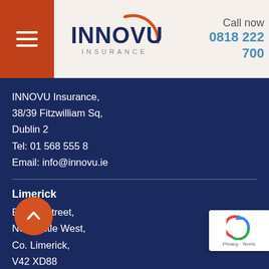[Figure (logo): INNOVU Insurance logo with orange arc and hamburger menu icon on orange-red background]
Call now
0818 222 700
INNOVU Insurance,
38/39 Fitzwilliam Sq,
Dublin 2
Tel: 01 568 555 8
Email: info@innovu.ie
Limerick
Bishop Street,
Newcastle West,
Co. Limerick,
V42 XD88
Tel: 069 61422
Email: info@innovu.ie
Limerick
Insurance House,